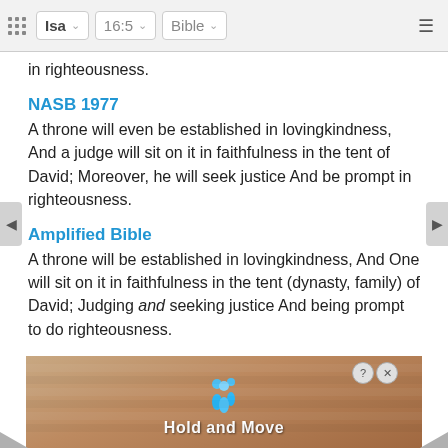Isa  16:5  Bible
in righteousness.
NASB 1977
A throne will even be established in lovingkindness, And a judge will sit on it in faithfulness in the tent of David; Moreover, he will seek justice And be prompt in righteousness.
Amplified Bible
A throne will be established in lovingkindness, And One will sit on it in faithfulness in the tent (dynasty, family) of David; Judging and seeking justice And being prompt to do righteousness.
Christian Standard Bible
a throne will be established in love, and one will sit on it faithfully in the tent of David, judging and pursuing
[Figure (screenshot): Advertisement overlay showing 'Hold and Move' with cartoon figures on a striped background, with close (x) and help (?) buttons]